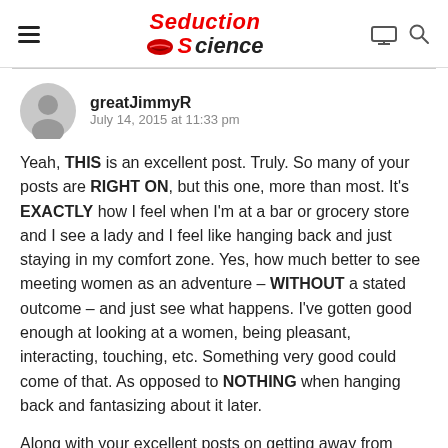Seduction Science — navigation header
greatJimmyR
July 14, 2015 at 11:33 pm
Yeah, THIS is an excellent post. Truly. So many of your posts are RIGHT ON, but this one, more than most. It’s EXACTLY how I feel when I’m at a bar or grocery store and I see a lady and I feel like hanging back and just staying in my comfort zone. Yes, how much better to see meeting women as an adventure – WITHOUT a stated outcome – and just see what happens. I’ve gotten good enough at looking at a women, being pleasant, interacting, touching, etc. Something very good could come of that. As opposed to NOTHING when hanging back and fantasizing about it later.
Along with your excellent posts on getting away from